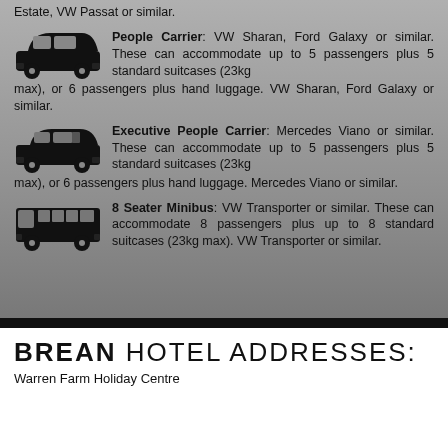Estate, VW Passat or similar.
People Carrier: VW Sharan, Ford Galaxy or similar. These can accommodate up to 5 passengers plus 5 standard suitcases (23kg max), or 6 passengers plus hand luggage. VW Sharan, Ford Galaxy or similar.
Executive People Carrier: Mercedes Viano or similar. These can accommodate up to 5 passengers plus 5 standard suitcases (23kg max), or 6 passengers plus hand luggage. Mercedes Viano or similar.
8 Seater Minibus: VW Transporter or similar. These can accommodate 8 passengers plus up to 8 standard suitcases (23kg max). VW Transporter or similar.
BREAN HOTEL ADDRESSES:
Warren Farm Holiday Centre